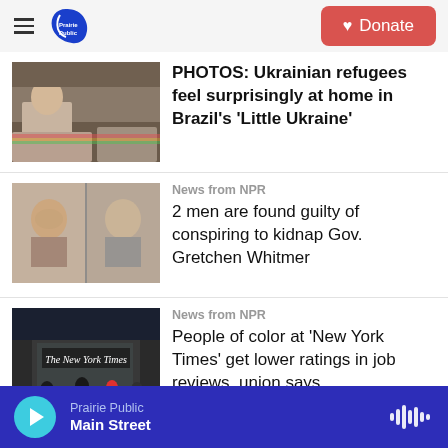Prairie Public — Donate
[Figure (photo): Person sitting at table with food, Ukrainian refugees in Brazil]
PHOTOS: Ukrainian refugees feel surprisingly at home in Brazil's 'Little Ukraine'
News from NPR
[Figure (photo): Two mugshot photos of men found guilty of conspiring to kidnap Gov. Gretchen Whitmer]
2 men are found guilty of conspiring to kidnap Gov. Gretchen Whitmer
News from NPR
[Figure (photo): People walking in front of The New York Times building]
People of color at 'New York Times' get lower ratings in job reviews, union says
Prairie Public — Main Street